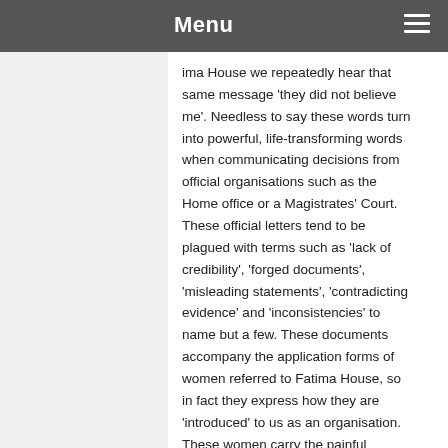Menu
ima House we repeatedly hear that same message 'they did not believe me'. Needless to say these words turn into powerful, life-transforming words when communicating decisions from official organisations such as the Home office or a Magistrates' Court. These official letters tend to be plagued with terms such as 'lack of credibility', 'forged documents', 'misleading statements', 'contradicting evidence' and 'inconsistencies' to name but a few. These documents accompany the application forms of women referred to Fatima House, so in fact they express how they are 'introduced' to us as an organisation. These women carry the painful experience of not being believed, challenging us to confront that hurt. When faced with this reality, we at Fatima House offer a 'faith-filled' response: we choose to believe. In actual fact, I think that defines the nature of the way we welcome these women at Fatima House, we tell them 'in here, you are believed'.